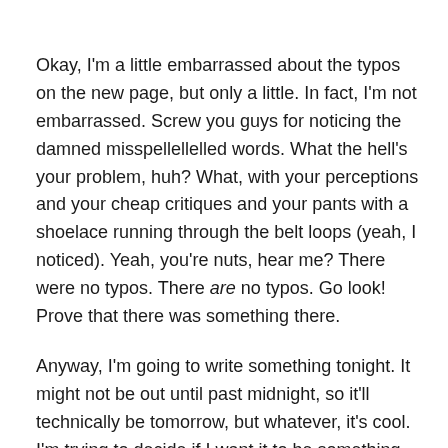Okay, I'm a little embarrassed about the typos on the new page, but only a little. In fact, I'm not embarrassed. Screw you guys for noticing the damned misspellellelled words. What the hell's your problem, huh? What, with your perceptions and your cheap critiques and your pants with a shoelace running through the belt loops (yeah, I noticed). Yeah, you're nuts, hear me? There were no typos. There are no typos. Go look! Prove that there was something there.
Anyway, I'm going to write something tonight. It might not be out until past midnight, so it'll technically be tomorrow, but whatever, it's cool. I'm trying to decide if I want it to be something y'all take seriously. I think it should be, just for